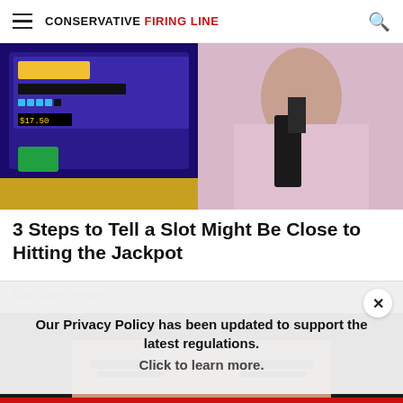CONSERVATIVE FIRING LINE
[Figure (photo): Slot machine screen showing game display on the left, and a woman in a pink top on the right side]
3 Steps to Tell a Slot Might Be Close to Hitting the Jackpot
BuzzDaily Winners
[Figure (photo): Close-up of a woman with dark hair and defined eyebrows]
Our Privacy Policy has been updated to support the latest regulations. Click to learn more.